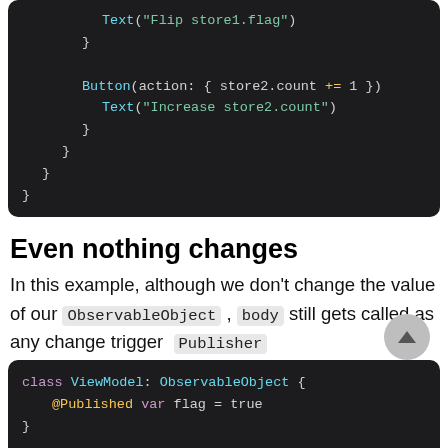[Figure (screenshot): Dark-themed code block showing Swift UI code: Text('Flip store1.flag'), closing braces, Button(action: { store2.count += 1 }), Text('Increase store2.count'), and multiple closing braces.]
Even nothing changes
In this example, although we don't change the value of our ObservableObject , body still gets called as any change trigger Publisher
[Figure (screenshot): Dark-themed code block showing Swift class ViewModel: ObservableObject { @Published var flag = true }]